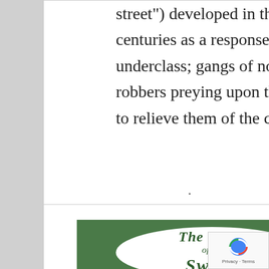street") developed in the late nineteenth and early twentieth centuries as a response to the rise of the French criminal underclass; gangs of notorious professional thieves and robbers preying upon the wealthy middle and upper classes to relieve them of the contents of their pockets.
Read more
.
[Figure (illustration): Book cover for 'The Game of the Sword' — dark green background with a white oval containing stylized text in green: 'The Game of the Sword']